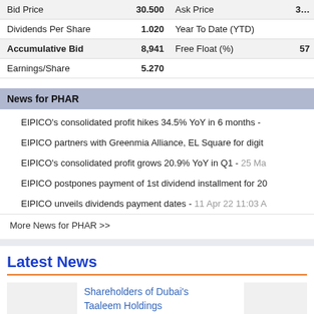| Bid Price | 30.500 | Ask Price | 3… |
| Dividends Per Share | 1.020 | Year To Date (YTD) |  |
| Accumulative Bid | 8,941 | Free Float (%) | 57 |
| Earnings/Share | 5.270 |  |  |
News for PHAR
EIPICO's consolidated profit hikes 34.5% YoY in 6 months -
EIPICO partners with Greenmia Alliance, EL Square for digit
EIPICO's consolidated profit grows 20.9% YoY in Q1 - 25 Ma
EIPICO postpones payment of 1st dividend installment for 20
EIPICO unveils dividends payment dates - 11 Apr 22 11:03 A
More News for PHAR >>
Latest News
Shareholders of Dubai's Taaleem Holdings approve going public